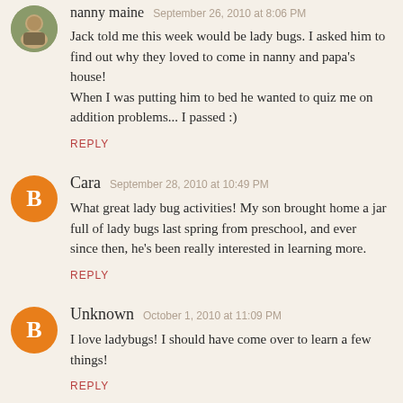nanny maine September 26, 2010 at 8:06 PM
Jack told me this week would be lady bugs. I asked him to find out why they loved to come in nanny and papa's house!
When I was putting him to bed he wanted to quiz me on addition problems... I passed :)
REPLY
Cara September 28, 2010 at 10:49 PM
What great lady bug activities! My son brought home a jar full of lady bugs last spring from preschool, and ever since then, he's been really interested in learning more.
REPLY
Unknown October 1, 2010 at 11:09 PM
I love ladybugs! I should have come over to learn a few things!
REPLY